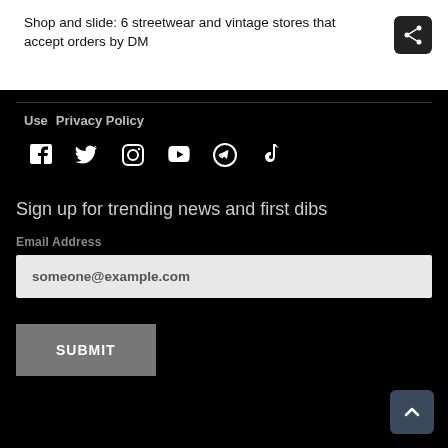Shop and slide: 6 streetwear and vintage stores that accept orders by DM
[Figure (other): Share button icon (dark rounded square with network share symbol)]
Use   Privacy Policy
[Figure (other): Social media icons row: Facebook, Twitter, Instagram, YouTube, Telegram, TikTok]
Sign up for trending news and first dibs
Email Address
someone@example.com
SUBMIT
[Figure (other): Back to top button (dark blue-grey rounded square with upward chevron arrow)]